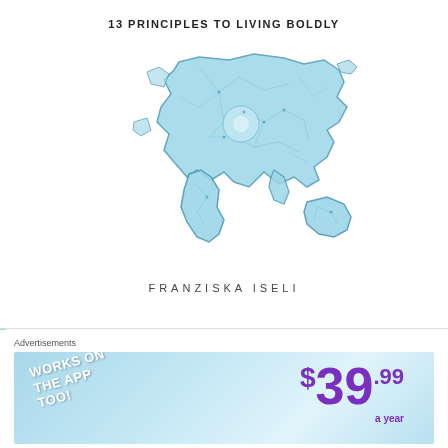13 PRINCIPLES TO LIVING BOLDLY
[Figure (illustration): Stylized world map rendered in light blue with geometric polygon/network pattern, showing continents outlined in dark blue against white background with light blue fill]
FRANZISKA ISELI
Advertisements
[Figure (infographic): Advertisement banner with light blue gradient background. Left side shows diagonal bold white text reading 'WORKS ON THE APP TOO!'. Right side shows large purple price '$39.99 a year']